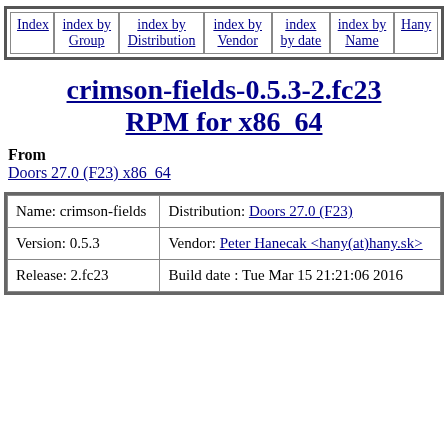| Index | index by Group | index by Distribution | index by Vendor | index by date | index by Name | Hany |
| --- | --- | --- | --- | --- | --- | --- |
| Index | index by Group | index by Distribution | index by Vendor | index by date | index by Name | Hany |
crimson-fields-0.5.3-2.fc23 RPM for x86_64
From
Doors 27.0 (F23) x86_64
| Name: crimson-fields | Distribution: Doors 27.0 (F23) |
| Version: 0.5.3 | Vendor: Peter Hanecak <hany(at)hany.sk> |
| Release: 2.fc23 | Build date : Tue Mar 15 21:21:06 2016 |